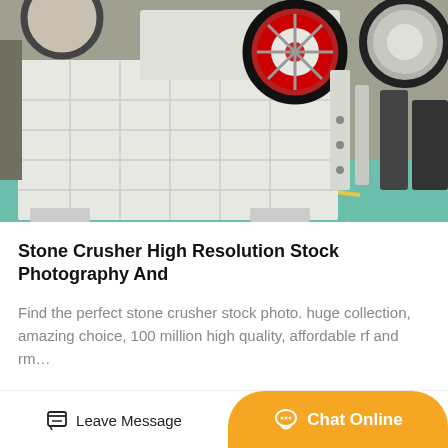[Figure (photo): Industrial jaw stone crusher machine, large white heavy equipment with red and black flywheel, photographed in a factory floor with teal/green flooring and other industrial equipment in background.]
Stone Crusher High Resolution Stock Photography And
Find the perfect stone crusher stock photo. huge collection, amazing choice, 100 million high quality, affordable rf and rm…
Get Price
Leave Message   Chat Online